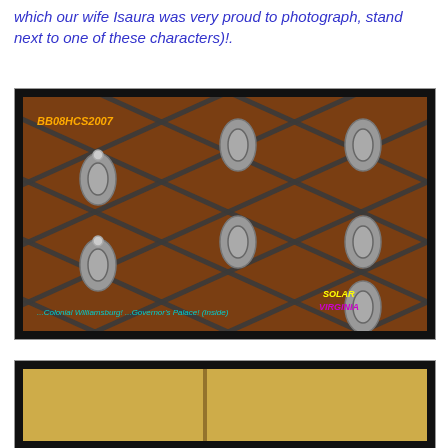which our wife Isaura was very proud to photograph, stand next to one of these characters)!.
[Figure (photo): Close-up photo of ornate metalwork lattice/grille with decorative silver-colored fixtures at intersections, set against a dark wood background. Watermark reads 'BB08HCS2007' in top left. Caption at bottom reads '...Colonial Williamsburg! ...Governor's Palace! (Inside)' with 'SOLAR VIRGINIA' text in bottom right corner.]
[Figure (photo): Partial view of a second photograph showing a golden/warm-toned interior scene, partially visible at the bottom of the page.]